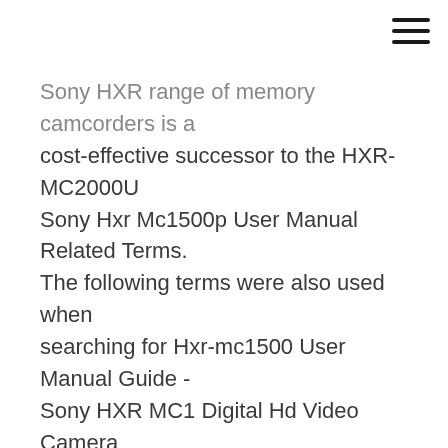[Figure (other): Hamburger menu icon (three horizontal lines) in top-right corner]
Sony HXR range of memory camcorders is a cost-effective successor to the HXR-MC2000U Sony Hxr Mc1500p User Manual Related Terms. The following terms were also used when searching for Hxr-mc1500 User Manual Guide - Sony HXR MC1 Digital Hd Video Camera Recorder:. Buy Sony HXR-MC1500P Professional
Sony HXR-MC2500 Manual Reviews Reviewed by 2 Customers Write a review Sony HXR-MC2500 AVCHD Camcorder PAL By Tayren Gorden from Sarawak Malaysia on 2019-04-05 After I purchased Sony HXT-MC2500 January HXR NX30E PDF - Sleek and ultra compact, the Sony HXR-NX30E professional camcorder is